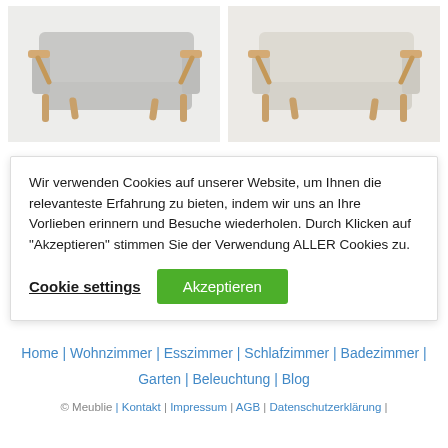[Figure (photo): Two Scandinavian-style sofas with wooden frames side by side. Left sofa has gray upholstery; right sofa has beige/cream upholstery.]
Wir verwenden Cookies auf unserer Website, um Ihnen die relevanteste Erfahrung zu bieten, indem wir uns an Ihre Vorlieben erinnern und Besuche wiederholen. Durch Klicken auf "Akzeptieren" stimmen Sie der Verwendung ALLER Cookies zu.
Cookie settings | Akzeptieren
Home | Wohnzimmer | Esszimmer | Schlafzimmer | Badezimmer | Garten | Beleuchtung | Blog
© Meublie | Kontakt | Impressum | AGB | Datenschutzerklärung |